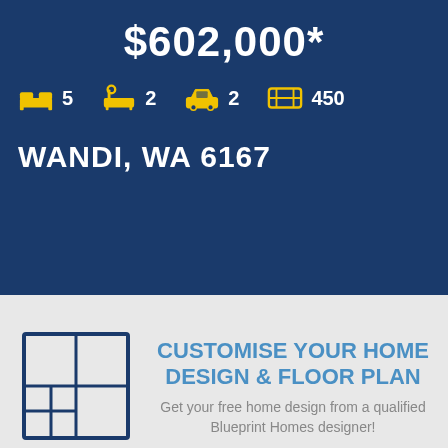$602,000*
5 bedrooms, 2 bathrooms, 2 cars, 450 m²
WANDI, WA 6167
CUSTOMISE YOUR HOME DESIGN & FLOOR PLAN
Get your free home design from a qualified Blueprint Homes designer!
CHAT
CALL
Designs | Land | Displays | Guide